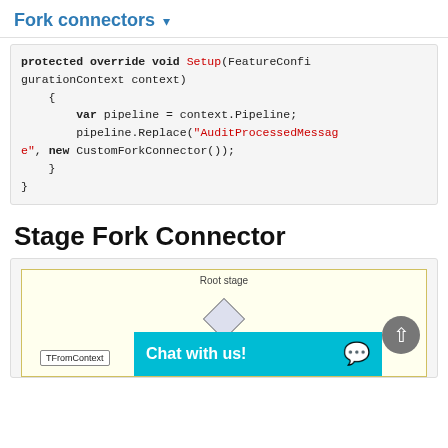Fork connectors ▾
protected override void Setup(FeatureConfigurationContext context)
    {
        var pipeline = context.Pipeline;
        pipeline.Replace("AuditProcessedMessage", new CustomForkConnector());
    }
}
Stage Fork Connector
[Figure (engineering-diagram): Diagram showing a pipeline flow with a Root stage label, a diamond shape connector, and a TFromContext box connected by arrows. A teal 'Chat with us!' banner overlays the bottom portion.]